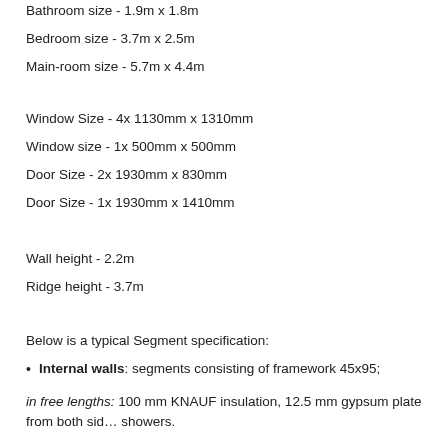Bathroom size - 1.9m x 1.8m
Bedroom size - 3.7m x 2.5m
Main-room size - 5.7m x 4.4m
Window Size - 4x 1130mm x 1310mm
Window size - 1x 500mm x 500mm
Door Size - 2x 1930mm x 830mm
Door Size - 1x 1930mm x 1410mm
Wall height - 2.2m
Ridge height - 3.7m
Below is a typical Segment specification:
Internal walls: segments consisting of framework 45x95;
in free lengths: 100 mm KNAUF insulation, 12.5 mm gypsum plate from both sides, vapour barriers on showers.